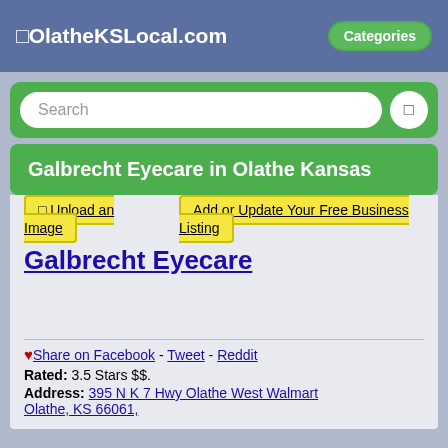◻OlatheKSLocal.com  Categories
Search
Galbrecht Eyecare in Olathe Kansas
◻ Upload an Image
Add or Update Your Free Business Listing
Galbrecht Eyecare
♥Share on Facebook - Tweet - Reddit
Rated: 3.5 Stars $$.
Address: 395 N K 7 Hwy Olathe West Walmart Olathe, KS 66061,